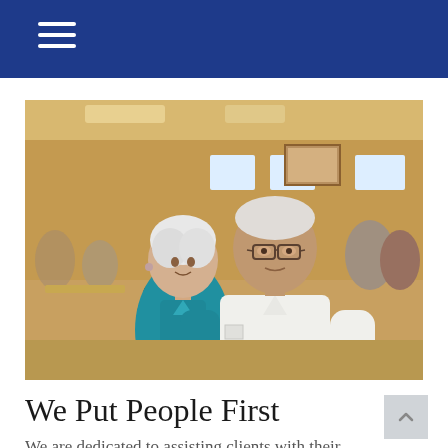[Figure (photo): An elderly couple (woman in teal/turquoise blouse, man in white polo shirt with glasses) standing together in what appears to be a busy diner or community center with blurred people and tables in the background.]
We Put People First
We are dedicated to assisting clients with their